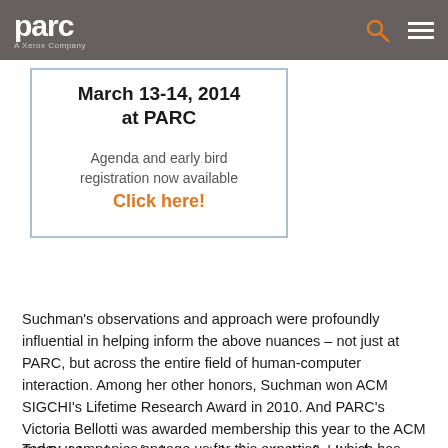parc – A Xerox Company
March 13-14, 2014 at PARC
Agenda and early bird registration now available
Click here!
Suchman's observations and approach were profoundly influential in helping inform the above nuances – not just at PARC, but across the entire field of human-computer interaction. Among her other honors, Suchman won ACM SIGCHI's Lifetime Research Award in 2010.  And PARC's Victoria Bellotti was awarded membership this year to the ACM SIGCHI Academy for her contributions to the field and professional community of Human Computer Interface.
Today, companies engage us for this expertise – which has